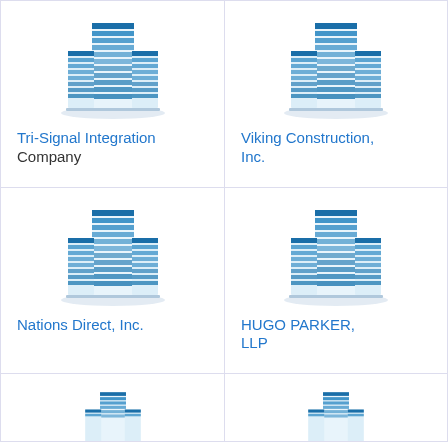[Figure (logo): Building/office tower logo icon in blue tones]
Tri-Signal Integration Company
[Figure (logo): Building/office tower logo icon in blue tones]
Viking Construction, Inc.
[Figure (logo): Building/office tower logo icon in blue tones]
Nations Direct, Inc.
[Figure (logo): Building/office tower logo icon in blue tones]
HUGO PARKER, LLP
[Figure (logo): Building/office tower logo icon in blue tones (partial)]
[Figure (logo): Building/office tower logo icon in blue tones (partial)]